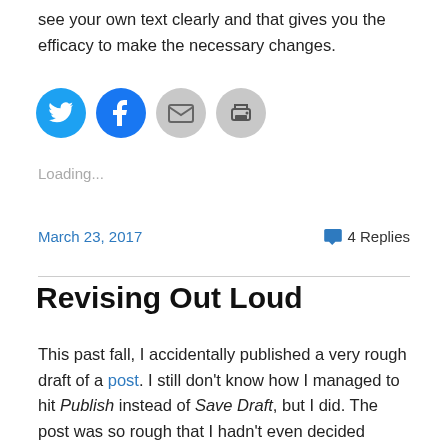see your own text clearly and that gives you the efficacy to make the necessary changes.
[Figure (other): Social sharing icon buttons: Twitter (blue circle), Facebook (blue circle), Email (grey circle), Print (grey circle)]
Loading...
March 23, 2017    💬 4 Replies
Revising Out Loud
This past fall, I accidentally published a very rough draft of a post. I still don't know how I managed to hit Publish instead of Save Draft, but I did. The post was so rough that I hadn't even decided whether or not I wanted to